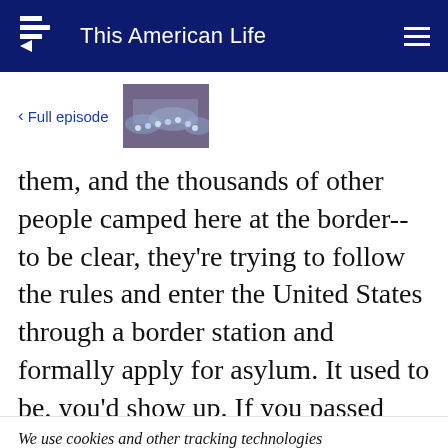This American Life
< Full episode
[Figure (photo): Thumbnail image of a crowded scene, appears to be a painting or illustration of many people gathered together.]
them, and the thousands of other people camped here at the border-- to be clear, they're trying to follow the rules and enter the United States through a border station and formally apply for asylum. It used to be, you'd show up. If you passed
We use cookies and other tracking technologies to enhance your browsing experience. If you continue to use our site, you agree to the use of such cookies. For more info, see our privacy policy.